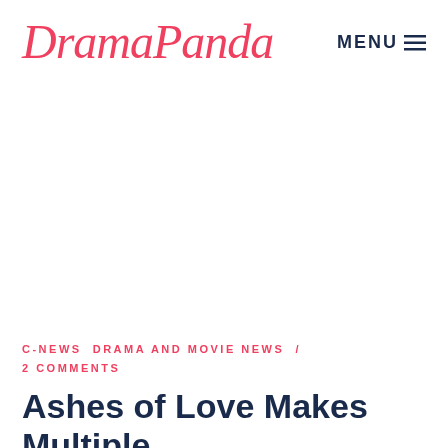DramaPanda   MENU
C-NEWS  DRAMA AND MOVIE NEWS / 2 COMMENTS
Ashes of Love Makes Multiple